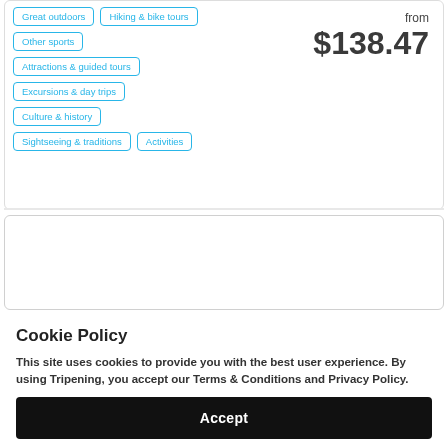Great outdoors
Hiking & bike tours
Other sports
from $138.47
Attractions & guided tours
Excursions & day trips
Culture & history
Sightseeing & traditions
Activities
[Figure (other): Empty card section placeholder]
Cookie Policy
This site uses cookies to provide you with the best user experience. By using Tripening, you accept our Terms & Conditions and Privacy Policy.
Accept